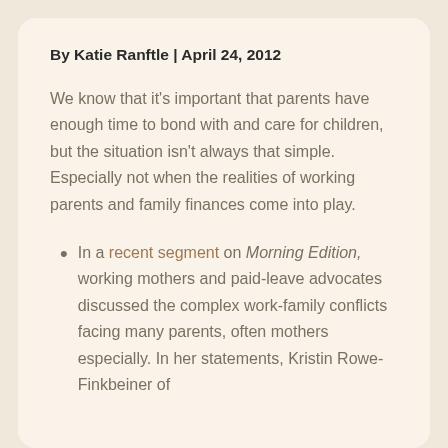By Katie Ranftle | April 24, 2012
We know that it's important that parents have enough time to bond with and care for children, but the situation isn't always that simple. Especially not when the realities of working parents and family finances come into play.
In a recent segment on Morning Edition, working mothers and paid-leave advocates discussed the complex work-family conflicts facing many parents, often mothers especially. In her statements, Kristin Rowe-Finkbeiner of